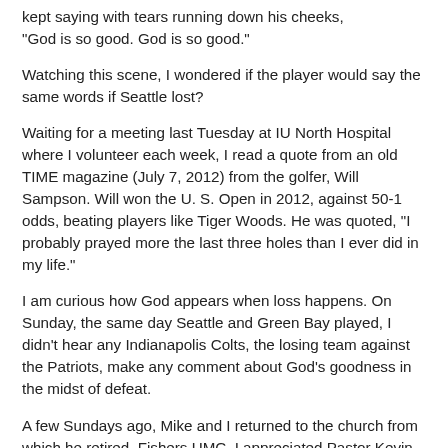kept saying with tears running down his cheeks, "God is so good. God is so good."
Watching this scene, I wondered if the player would say the same words if Seattle lost?
Waiting for a meeting last Tuesday at IU North Hospital where I volunteer each week, I read a quote from an old TIME magazine (July 7, 2012) from the golfer, Will Sampson. Will won the U. S. Open in 2012, against 50-1 odds, beating players like Tiger Woods. He was quoted, "I probably prayed more the last three holes than I ever did in my life."
I am curious how God appears when loss happens. On Sunday, the same day Seattle and Green Bay played, I didn't hear any Indianapolis Colts, the losing team against the Patriots, make any comment about God's goodness in the midst of defeat.
A few Sundays ago, Mike and I returned to the church from which he retired, Fishers UMC. I appreciated Pastor Kevin McKinney's words about prayer. He commented that when